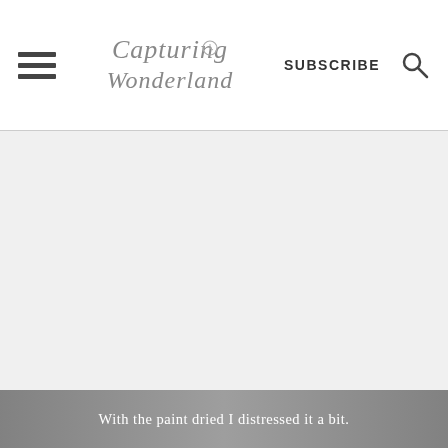Capturing Wonderland — SUBSCRIBE
[Figure (photo): Blank/white content area representing a distressed painted object photograph]
With the paint dried I distressed it a bit.